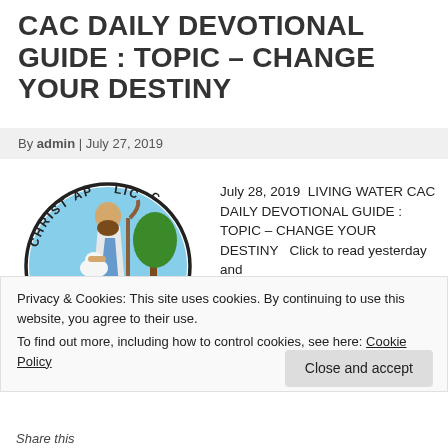CAC DAILY DEVOTIONAL GUIDE : TOPIC – CHANGE YOUR DESTINY
By admin | July 27, 2019
[Figure (illustration): Christ Apostolic Church circular logo showing Jesus as shepherd holding a lamb, with text 'CHRIST APOSTOLIC CHURCH' around the circle and 'ONE FOLD, ONE SHEPHERD' on a banner below]
July 28, 2019  LIVING WATER CAC DAILY DEVOTIONAL GUIDE : TOPIC – CHANGE YOUR DESTINY   Click to read yesterday and
Privacy & Cookies: This site uses cookies. By continuing to use this website, you agree to their use.
To find out more, including how to control cookies, see here: Cookie Policy
Close and accept
Share this